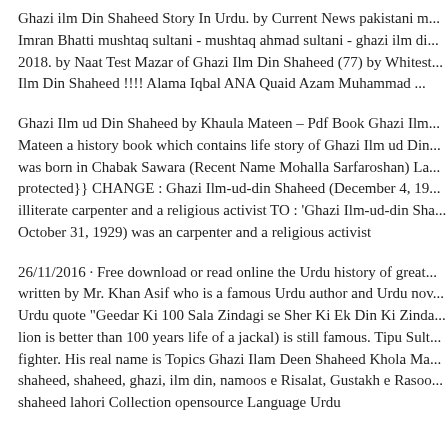Ghazi ilm Din Shaheed Story In Urdu. by Current News pakistani m... Imran Bhatti mushtaq sultani - mushtaq ahmad sultani - ghazi ilm di... 2018. by Naat Test Mazar of Ghazi Ilm Din Shaheed (77) by Whitest... Ilm Din Shaheed !!!! Alama Iqbal ANA Quaid Azam Muhammad ...
Ghazi Ilm ud Din Shaheed by Khaula Mateen – Pdf Book Ghazi Ilm... Mateen a history book which contains life story of Ghazi Ilm ud Din... was born in Chabak Sawara (Recent Name Mohalla Sarfaroshan) La... protected}} CHANGE : Ghazi Ilm-ud-din Shaheed (December 4, 19... illiterate carpenter and a religious activist TO : 'Ghazi Ilm-ud-din Sha... October 31, 1929) was an carpenter and a religious activist
26/11/2016 · Free download or read online the Urdu history of great... written by Mr. Khan Asif who is a famous Urdu author and Urdu nov... Urdu quote "Geedar Ki 100 Sala Zindagi se Sher Ki Ek Din Ki Zinda... lion is better than 100 years life of a jackal) is still famous. Tipu Sult... fighter. His real name is Topics Ghazi Ilam Deen Shaheed Khola Ma... shaheed, shaheed, ghazi, ilm din, namoos e Risalat, Gustakh e Rasoo... shaheed lahori Collection opensource Language Urdu